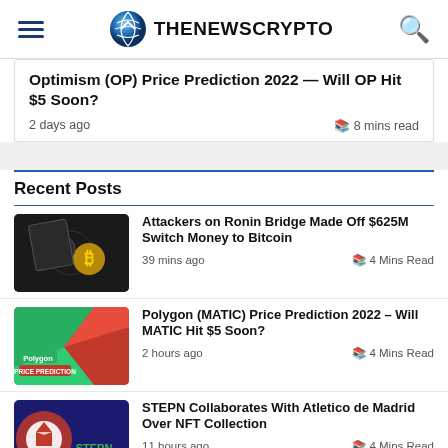THENEWSCRYPTO
Optimism (OP) Price Prediction 2022 — Will OP Hit $5 Soon?
2 days ago   8 mins read
Recent Posts
Attackers on Ronin Bridge Made Off  $625M Switch Money to Bitcoin — 39 mins ago — 4 Mins Read
Polygon (MATIC) Price Prediction 2022 – Will MATIC Hit $5 Soon? — 2 hours ago — 4 Mins Read
STEPN Collaborates With Atletico de Madrid Over NFT Collection — 11 hours ago — 4 Mins Read